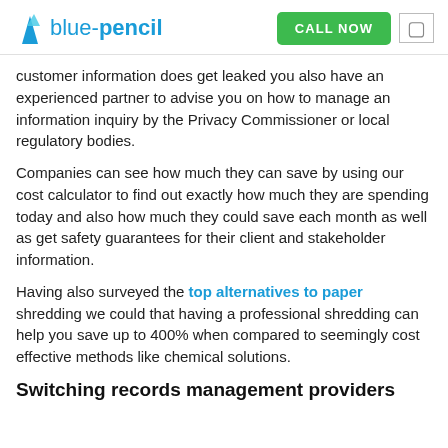blue-pencil | CALL NOW
customer information does get leaked you also have an experienced partner to advise you on how to manage an information inquiry by the Privacy Commissioner or local regulatory bodies.
Companies can see how much they can save by using our cost calculator to find out exactly how much they are spending today and also how much they could save each month as well as get safety guarantees for their client and stakeholder information.
Having also surveyed the top alternatives to paper shredding we could that having a professional shredding can help you save up to 400% when compared to seemingly cost effective methods like chemical solutions.
Switching records management providers